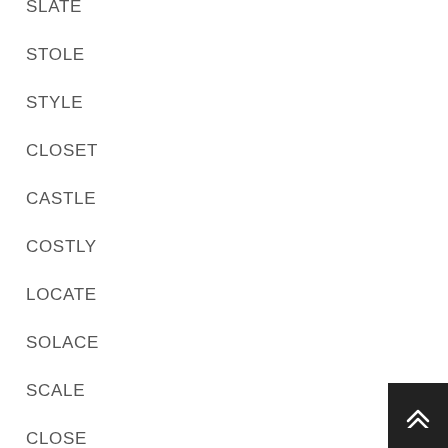SLATE
STOLE
STYLE
CLOSET
CASTLE
COSTLY
LOCATE
SOLACE
SCALE
CLOSE
COAST